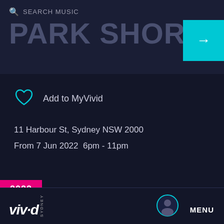SEARCH MUSIC
PARK SHORTS
Add to MyVivid
11 Harbour St, Sydney NSW 2000
From 7 Jun 2022  6pm - 11pm
2022
viv·d SYDNEY  MENU